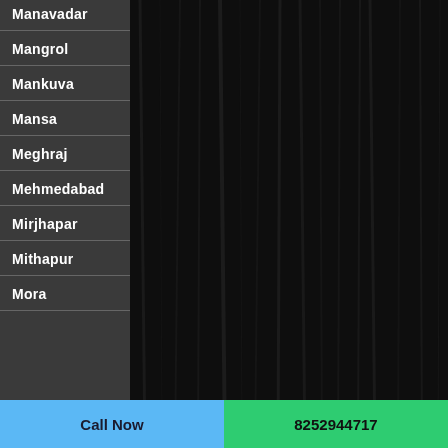Manavadar
Mangrol
Mankuva
Mansa
Meghraj
Mehmedabad
Mirjhapar
Mithapur
Mora
Call Now
8252944717